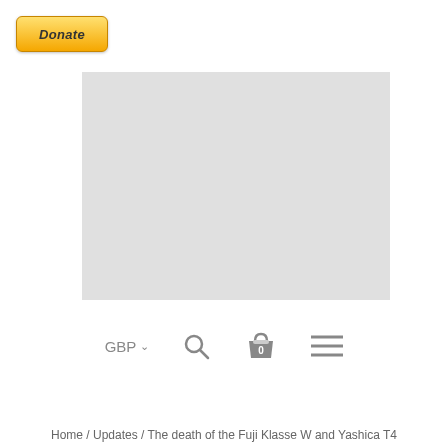[Figure (other): PayPal Donate button — yellow gradient pill-shaped button with italic bold 'Donate' text]
[Figure (photo): Gray placeholder rectangle representing an image that has not loaded]
[Figure (other): Website navigation bar with GBP currency selector, search icon, cart icon showing 0 items, and hamburger menu icon]
Home / Updates / The death of the Fuji Klasse W and Yashica T4